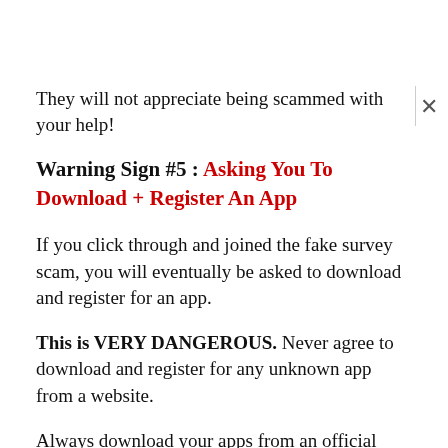They will not appreciate being scammed with your help!
Warning Sign #5 : Asking You To Download + Register An App
If you click through and joined the fake survey scam, you will eventually be asked to download and register for an app.
This is VERY DANGEROUS. Never agree to download and register for any unknown app from a website.
Always download your apps from an official App Store like Google Play Store (for Android smartphones) and Apple App Store (for iPhones).